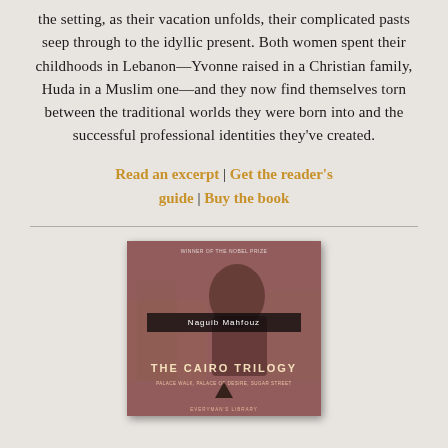the setting, as their vacation unfolds, their complicated pasts seep through to the idyllic present. Both women spent their childhoods in Lebanon—Yvonne raised in a Christian family, Huda in a Muslim one—and they now find themselves torn between the traditional worlds they were born into and the successful professional identities they've created.
Read an excerpt | Get the reader's guide | Buy the book
[Figure (photo): Book cover of 'The Cairo Trilogy' by Naguib Mahfouz, Everyman's Library edition. Red/sepia toned cover with a figure in the background, author name in a dark label box in the middle, title at the bottom, and a triangle logo.]